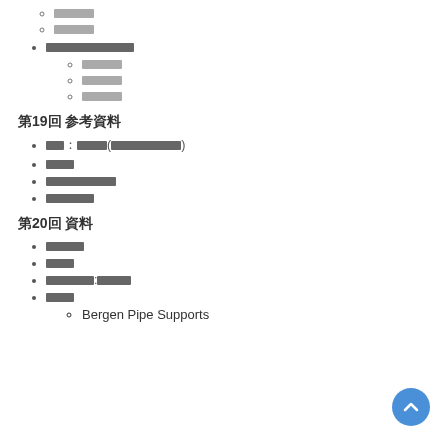█████
█████
████████████████
█████
█████
█████
第19回 参考資料
資料：██████（███████████）
████
████████████
███████
第20回 資料
█████
████
█████████:█████
████
Bergen Pipe Supports